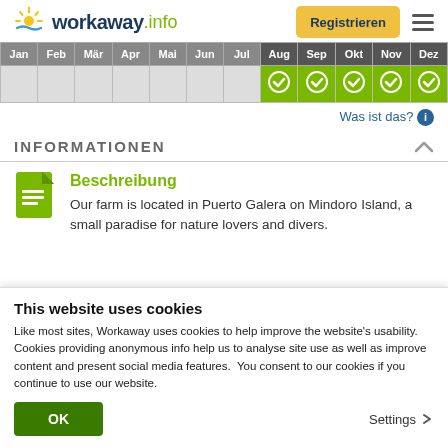workaway.info — Registrieren
| Jan | Feb | Mär | Apr | Mai | Jun | Jul | Aug | Sep | Okt | Nov | Dez |
| --- | --- | --- | --- | --- | --- | --- | --- | --- | --- | --- | --- |
|  |  |  |  |  |  |  | ✓ | ✓ | ✓ | ✓ | ✓ |
Was ist das? ℹ
INFORMATIONEN
Beschreibung
Our farm is located in Puerto Galera on Mindoro Island, a small paradise for nature lovers and divers.
This website uses cookies
Like most sites, Workaway uses cookies to help improve the website's usability. Cookies providing anonymous info help us to analyse site use as well as improve content and present social media features.  You consent to our cookies if you continue to use our website.
OK
Settings